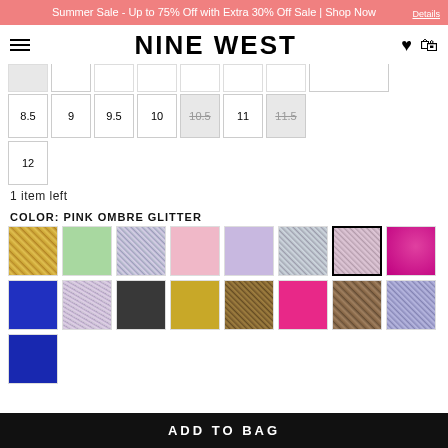Summer Sale - Up to 75% Off with Extra 30% Off Sale | Shop Now
NINE WEST
8.5
9
9.5
10
10.5 (unavailable)
11
11.5 (unavailable)
12
1 item left
COLOR: PINK OMBRE GLITTER
[Figure (other): Color swatches grid showing 17 color options: gold glitter, green, gray glitter, light pink, lavender, silver glitter, pink ombre glitter (selected), magenta, blue, multicolor glitter, black, yellow, bronze glitter, hot pink, brown glitter, periwinkle glitter, dark blue]
ADD TO BAG